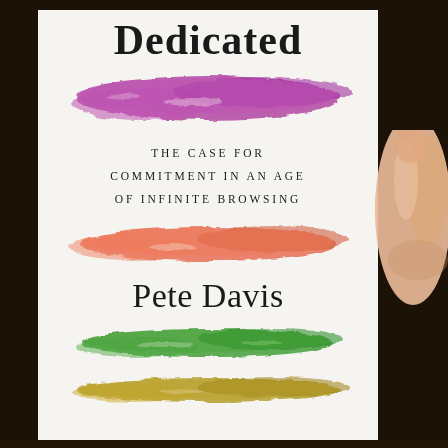[Figure (photo): A photograph of a book titled 'Dedicated: The Case for Commitment in an Age of Infinite Browsing' by Pete Davis. The book cover is white with colorful watercolor brushstrokes (purple, orange/red, green, and yellow/olive). A hand is visible holding the book from the right side. The background is dark.]